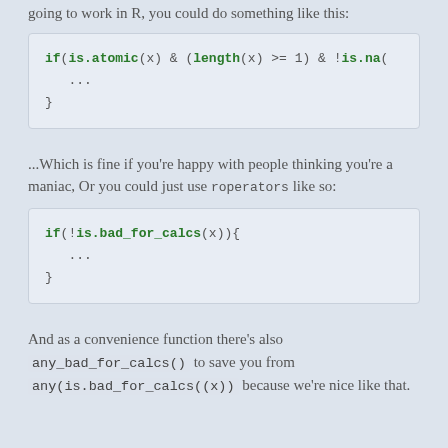going to work in R, you could do something like this:
if(is.atomic(x) & (length(x) >= 1) & !is.na(
  ...
}
...Which is fine if you're happy with people thinking you're a maniac, Or you could just use roperators like so:
if(!is.bad_for_calcs(x)){
  ...
}
And as a convenience function there's also any_bad_for_calcs() to save you from any(is.bad_for_calcs((x)) because we're nice like that.